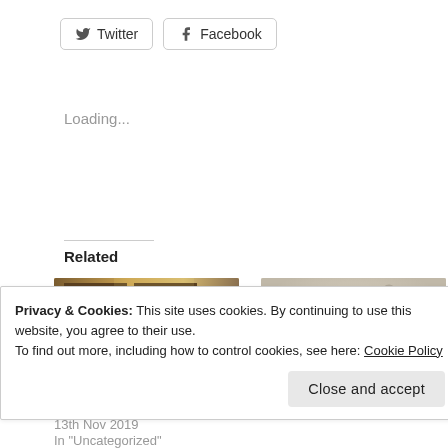[Figure (screenshot): Twitter and Facebook share buttons]
Loading...
Related
[Figure (photo): Photo of library shelves with books and binders]
My First Blog Post
13th Nov 2019
In "Uncategorized"
[Figure (photo): Photo of a dog looking upward with red collar]
Favourite New Year Poems
Privacy & Cookies: This site uses cookies. By continuing to use this website, you agree to their use.
To find out more, including how to control cookies, see here: Cookie Policy
Close and accept